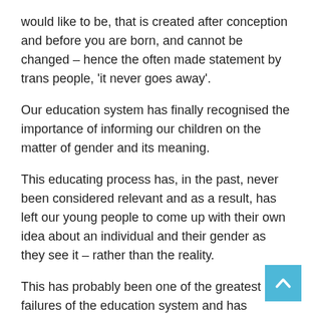would like to be, that is created after conception and before you are born, and cannot be changed – hence the often made statement by trans people, 'it never goes away'.
Our education system has finally recognised the importance of informing our children on the matter of gender and its meaning.
This educating process has, in the past, never been considered relevant and as a result, has left our young people to come up with their own idea about an individual and their gender as they see it – rather than the reality.
This has probably been one of the greatest failures of the education system and has resulted in so much pain being unfairly inflicted on diverse students who are just being something they can never change – themselves.
[Figure (other): Back to top button – a light blue square button with a white upward-pointing chevron arrow.]